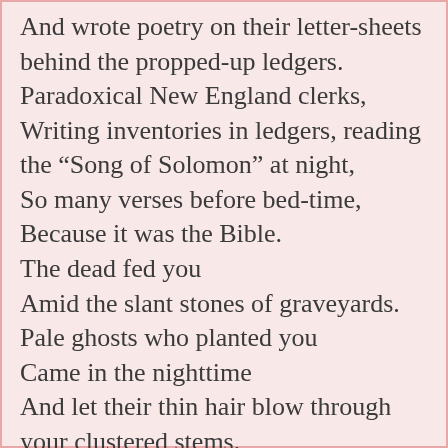And wrote poetry on their letter-sheets behind the propped-up ledgers. Paradoxical New England clerks, Writing inventories in ledgers, reading the “Song of Solomon” at night, So many verses before bed-time, Because it was the Bible. The dead fed you Amid the slant stones of graveyards. Pale ghosts who planted you Came in the nighttime And let their thin hair blow through your clustered stems. You are of the green sea, And of the stone hills which reach a long distance. You are of elm-shaded streets with little